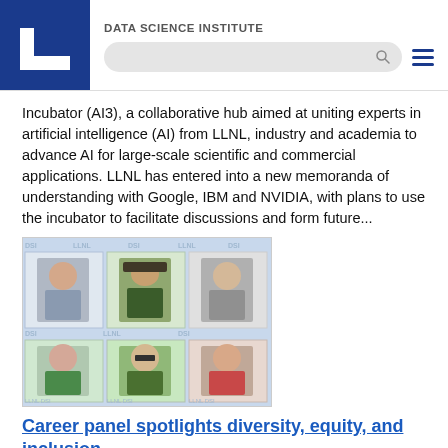DATA SCIENCE INSTITUTE
Incubator (AI3), a collaborative hub aimed at uniting experts in artificial intelligence (AI) from LLNL, industry and academia to advance AI for large-scale scientific and commercial applications. LLNL has entered into a new memoranda of understanding with Google, IBM and NVIDIA, with plans to use the incubator to facilitate discussions and form future...
[Figure (photo): Grid of six headshot photos of people, arranged in 2 rows of 3, with DSI/LLNL watermark text visible in the background]
Career panel spotlights diversity, equity, and inclusion
Nov. 19, 2021 - The DSI's career panel series continued on November 3 with a session highlighting diversity, equity, and